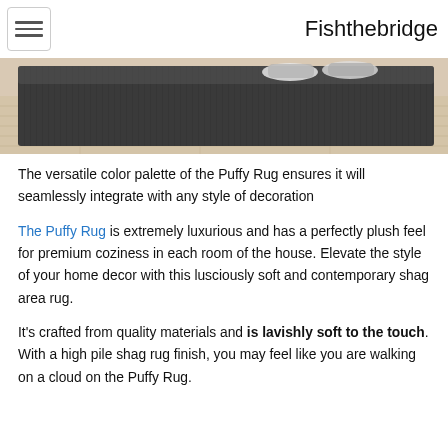Fishthebridge
[Figure (photo): Dark gray shag rug on light wood floor, viewed from the side showing the thick pile texture, with feet visible at the top edge]
The versatile color palette of the Puffy Rug ensures it will seamlessly integrate with any style of decoration
The Puffy Rug is extremely luxurious and has a perfectly plush feel for premium coziness in each room of the house. Elevate the style of your home decor with this lusciously soft and contemporary shag area rug.
It's crafted from quality materials and is lavishly soft to the touch. With a high pile shag rug finish, you may feel like you are walking on a cloud on the Puffy Rug.